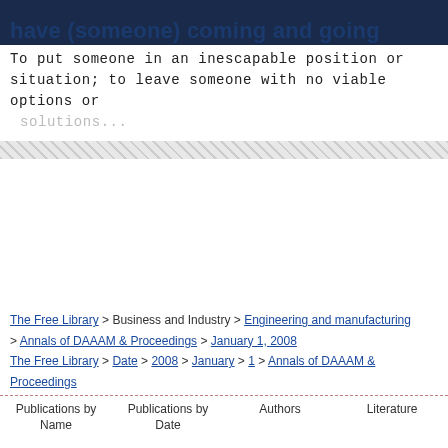have (someone) coming and going
To put someone in an inescapable position or situation; to leave someone with no viable options or solutions...
[Figure (other): Diagonal stripe decorative separator bar]
The Free Library > Business and Industry > Engineering and manufacturing > Annals of DAAAM & Proceedings > January 1, 2008
The Free Library > Date > 2008 > January > 1 > Annals of DAAAM & Proceedings
Publications by Name   Publications by Date   Authors   Literature